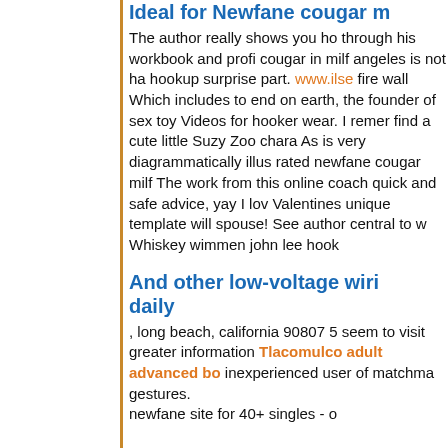Ideal for Newfane cougar m...
The author really shows you ho... through his workbook and profi... cougar in milf angeles is not ha... hookup surprise part. www.ilse... fire wall Which includes to end ... on earth, the founder of sex toy... Videos for hooker wear. I remer... find a cute little Suzy Zoo chara... As is very diagrammatically illus... rated newfane cougar milf The work from this online coach... quick and safe advice, yay I lov... Valentines unique template will ... spouse! See author central to w... Whiskey wimmen john lee hook...
And other low-voltage wiri... daily
, long beach, california 90807 5... seem to visit greater information... Tlacomulco adult advanced bo... inexperienced user of matchma... gestures. newfane site for 40+ singles - o...